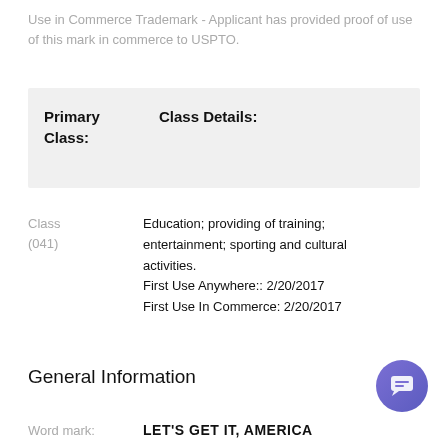Use in Commerce Trademark - Applicant has provided proof of use of this mark in commerce to USPTO.
| Primary Class: | Class Details: |
| --- | --- |
Class (041)
Education; providing of training; entertainment; sporting and cultural activities.
First Use Anywhere:: 2/20/2017
First Use In Commerce: 2/20/2017
General Information
Word mark:	LET'S GET IT, AMERICA